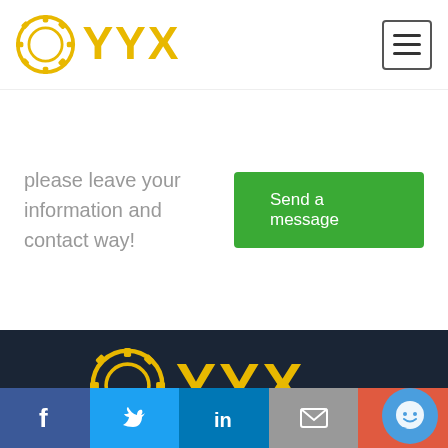[Figure (logo): YYX logo in gold/yellow color with circular gear icon on left, in page header]
[Figure (other): Hamburger menu icon (three horizontal lines) in top right corner]
please leave your information and contact way!
[Figure (other): Green 'Send a message' button]
[Figure (logo): Large YYX logo in gold/yellow on dark navy background in footer]
ABOUT US | PRODUCTS | CASE | CONTACT US
Welcome to Yixing (HongKong) Industrial Co.,Ltd. All rights res...
[Figure (other): Blue circular chat support button with smiley face icon]
[Figure (other): Social media bar with Facebook, Twitter, LinkedIn, Email, and Plus icons]